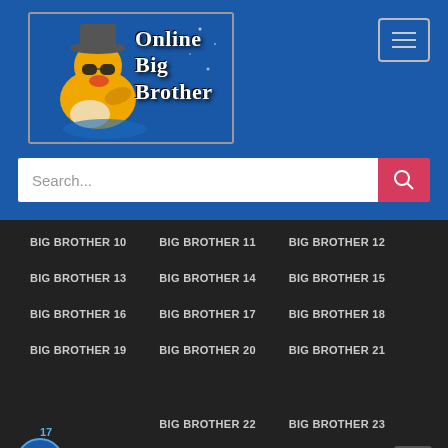[Figure (logo): Online Big Brother website logo with rubber duck wearing sunglasses and hat]
Search...
BIG BROTHER 10
BIG BROTHER 11
BIG BROTHER 12
BIG BROTHER 13
BIG BROTHER 14
BIG BROTHER 15
BIG BROTHER 16
BIG BROTHER 17
BIG BROTHER 18
BIG BROTHER 19
BIG BROTHER 20
BIG BROTHER 21
BIG BROTHER 22
BIG BROTHER 23
2021 OBB Theme by Colorlib Powered by WordPress